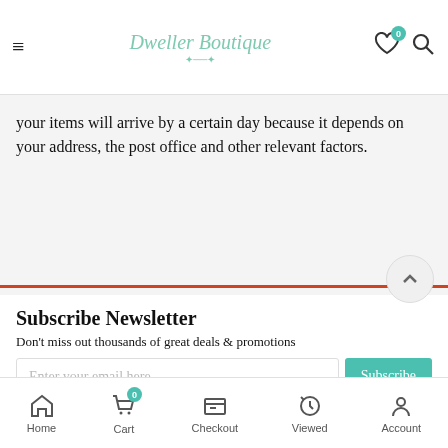Dweller Boutique — navigation header with hamburger menu, logo, heart icon with badge 0, and search icon
your items will arrive by a certain day because it depends on your address, the post office and other relevant factors.
Subscribe Newsletter
Don't miss out thousands of great deals & promotions
Home | Cart (0) | Checkout | Viewed | Account